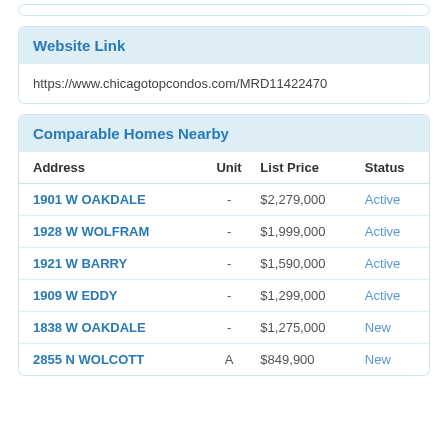Website Link
https://www.chicagotopcondos.com/MRD11422470
Comparable Homes Nearby
| Address | Unit | List Price | Status |
| --- | --- | --- | --- |
| 1901 W OAKDALE | - | $2,279,000 | Active |
| 1928 W WOLFRAM | - | $1,999,000 | Active |
| 1921 W BARRY | - | $1,590,000 | Active |
| 1909 W EDDY | - | $1,299,000 | Active |
| 1838 W OAKDALE | - | $1,275,000 | New |
| 2855 N WOLCOTT | A | $849,900 | New |